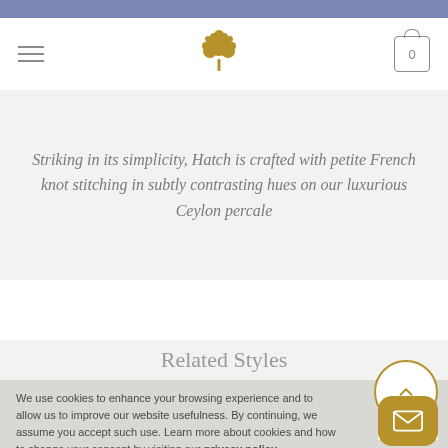Navigation bar with hamburger menu, tree logo, and cart icon (0)
Striking in its simplicity, Hatch is crafted with petite French knot stitching in subtly contrasting hues on our luxurious Ceylon percale
Related Styles
We use cookies to enhance your browsing experience and to allow us to improve our website usefulness. By continuing, we assume you accept such use. Learn more about cookies and how to change your consent by visiting our privacy policy.